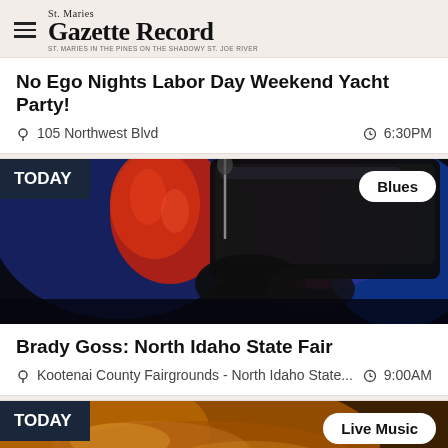St. Maries Gazette Record
No Ego Nights Labor Day Weekend Yacht Party!
105 Northwest Blvd   6:30PM
[Figure (photo): Blues musician at piano on stage with red satin jacket, blue and pink stage lighting, black leather gloves. Badge: TODAY (top-left), Blues (top-right).]
Brady Goss: North Idaho State Fair
Kootenai County Fairgrounds - North Idaho State...   9:00AM
[Figure (photo): Live music event photo, warm golden tones, Monster energy logo visible. Badge: TODAY (top-left), Live Music (top-right).]